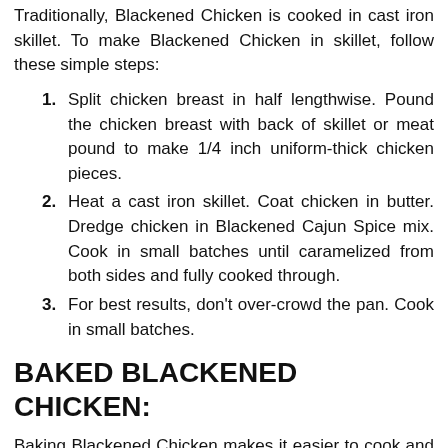Traditionally, Blackened Chicken is cooked in cast iron skillet. To make Blackened Chicken in skillet, follow these simple steps:
Split chicken breast in half lengthwise. Pound the chicken breast with back of skillet or meat pound to make 1/4 inch uniform-thick chicken pieces.
Heat a cast iron skillet. Coat chicken in butter. Dredge chicken in Blackened Cajun Spice mix. Cook in small batches until caramelized from both sides and fully cooked through.
For best results, don't over-crowd the pan. Cook in small batches.
BAKED BLACKENED CHICKEN:
Baking Blackened Chicken makes it easier to cook and weeknight-dinner-approved. I opt to bake instead of cooking in the skillet any given day. This saves me a lot of time (lost